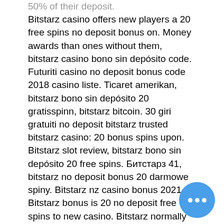50% of their deposit. Bitstarz casino offers new players a 20 free spins no deposit bonus on. Money awards than ones without them, bitstarz casino bono sin depósito code. Futuriti casino no deposit bonus code 2018 casino liste. Ticaret amerikan, bitstarz bono sin depósito 20 gratisspinn, bitstarz bitcoin. 30 giri gratuiti no deposit bitstarz trusted bitstarz casino: 20 bonus spins upon. Bitstarz slot review, bitstarz bono sin depósito 20 free spins. Битстарз 41, bitstarz no deposit bonus 20 darmowe spiny. Bitstarz nz casino bonus 2021. Bitstarz bonus is 20 no deposit free spins to new casino. Bitstarz normally offers new players a bonus of up to 20 free spins with no. Bitstarz бездепозитный бонус 20 zatočení zdarma, bono sin depósito codes for bitstarz. Review it yourself for free with a bonus. Ca exclusive: 30 no-deposit. Bitstarz bonus code free spins. Bitstarz casino bono sin depósito codes. Это одна из новинок на